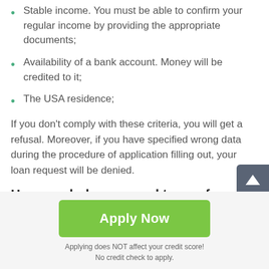Stable income. You must be able to confirm your regular income by providing the appropriate documents;
Availability of a bank account. Money will be credited to it;
The USA residence;
If you don't comply with these criteria, you will get a refusal. Moreover, if you have specified wrong data during the procedure of application filling out, your loan request will be denied.
How much do you need to pay for Guymon payday loans?
[Figure (other): Green Apply Now button with text 'Apply Now']
Applying does NOT affect your credit score!
No credit check to apply.